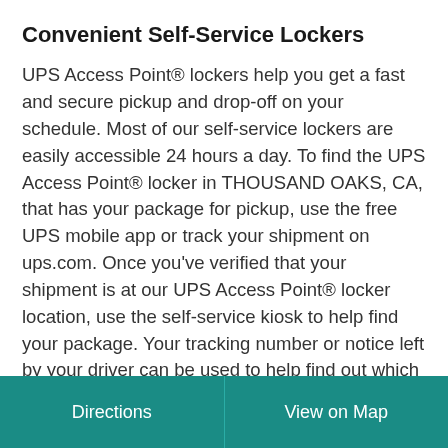Convenient Self-Service Lockers
UPS Access Point® lockers help you get a fast and secure pickup and drop-off on your schedule. Most of our self-service lockers are easily accessible 24 hours a day. To find the UPS Access Point® locker in THOUSAND OAKS, CA, that has your package for pickup, use the free UPS mobile app or track your shipment on ups.com. Once you've verified that your shipment is at our UPS Access Point® locker location, use the self-service kiosk to help find your package. Your tracking number or notice left by your driver can be used to help find out which local has your package secured inside. A driver's license or other government issued ID like a military ID can be used to verify your identity and authorize your package for pickup. Once verified, your locker door will open
Directions | View on Map